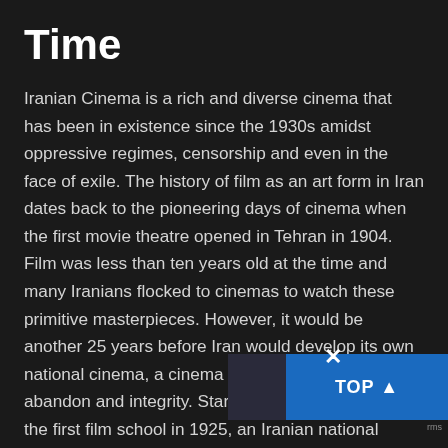Time
Iranian Cinema is a rich and diverse cinema that has been in existence since the 1930s amidst oppressive regimes, censorship and even in the face of exile. The history of film as an art form in Iran dates back to the pioneering days of cinema when the first movie theatre opened in Tehran in 1904. Film was less than ten years old at the time and many Iranians flocked to cinemas to watch these primitive masterpieces. However, it would be another 25 years before Iran would develop its own national cinema, a cinema of morality, humanity, abandon and integrity. Starting with the opening of the first film school in 1925, an Iranian national cinema quickly began to develop. Since then, cinema has served as an ambassador for Iran, the heart and soul of a country marred by years of inst... As a result Iranian national cinema has become engaging, chaotic, soulful and poignant cinema. It remains